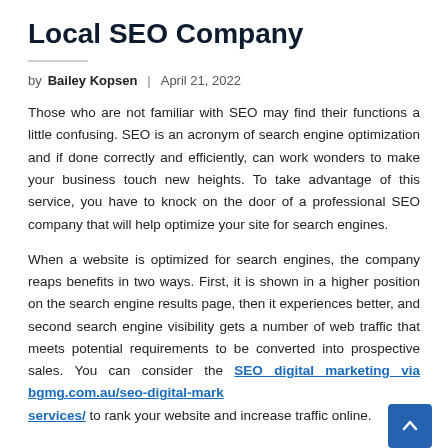Local SEO Company
by Bailey Kopsen | April 21, 2022
Those who are not familiar with SEO may find their functions a little confusing. SEO is an acronym of search engine optimization and if done correctly and efficiently, can work wonders to make your business touch new heights. To take advantage of this service, you have to knock on the door of a professional SEO company that will help optimize your site for search engines.
When a website is optimized for search engines, the company reaps benefits in two ways. First, it is shown in a higher position on the search engine results page, then it experiences better, and second search engine visibility gets a number of web traffic that meets potential requirements to be converted into prospective sales. You can consider the SEO digital marketing via bgmg.com.au/seo-digital-marketing-services/ to rank your website and increase traffic online.